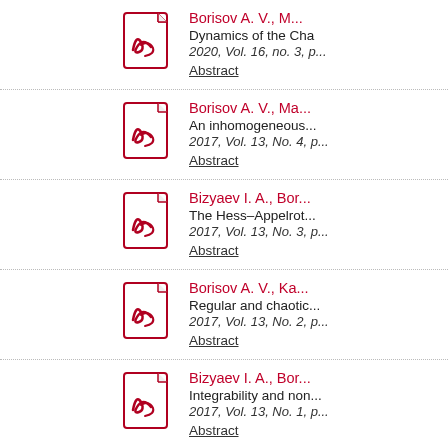Borisov A. V., M... — Dynamics of the Cha... — 2020, Vol. 16, no. 3, p... — Abstract
Borisov A. V., Ma... — An inhomogeneous... — 2017, Vol. 13, No. 4, p... — Abstract
Bizyaev I. A., Bor... — The Hess–Appelrot... — 2017, Vol. 13, No. 3, p... — Abstract
Borisov A. V., Ka... — Regular and chaotic... — 2017, Vol. 13, No. 2, p... — Abstract
Bizyaev I. A., Bor... — Integrability and non... — 2017, Vol. 13, No. 1, p... — Abstract